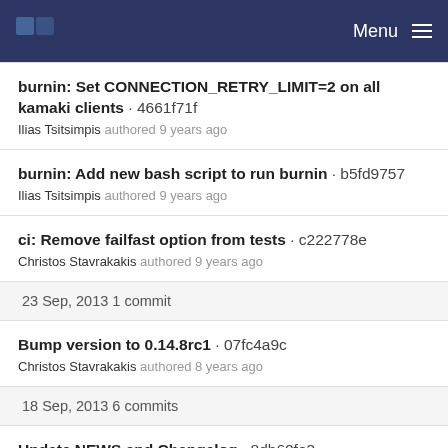Menu
burnin: Set CONNECTION_RETRY_LIMIT=2 on all kamaki clients · 4661f71f
Ilias Tsitsimpis authored 9 years ago
burnin: Add new bash script to run burnin · b5fd9757
Ilias Tsitsimpis authored 9 years ago
ci: Remove failfast option from tests · c222778e
Christos Stavrakakis authored 9 years ago
23 Sep, 2013 1 commit
Bump version to 0.14.8rc1 · 07fc4a9c
Christos Stavrakakis authored 8 years ago
18 Sep, 2013 6 commits
Update NEWS and Changelog · 8db60fe3
Christos Stavrakakis authored 8 years ago